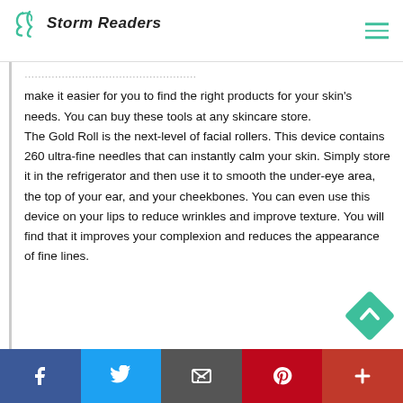Storm Readers
make it easier for you to find the right products for your skin's needs. You can buy these tools at any skincare store.
The Gold Roll is the next-level of facial rollers. This device contains 260 ultra-fine needles that can instantly calm your skin. Simply store it in the refrigerator and then use it to smooth the under-eye area, the top of your ear, and your cheekbones. You can even use this device on your lips to reduce wrinkles and improve texture. You will find that it improves your complexion and reduces the appearance of fine lines.
Facebook | Twitter | Email | Pinterest | More